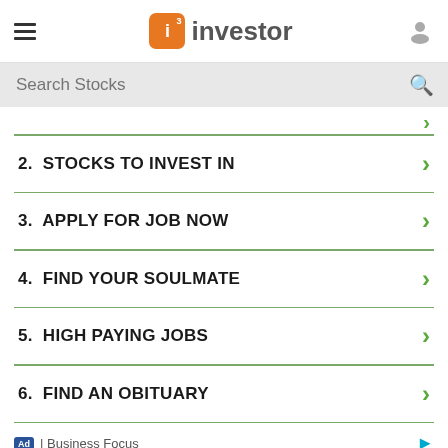i3 investor
Search Stocks
2.  STOCKS TO INVEST IN
3.  APPLY FOR JOB NOW
4.  FIND YOUR SOULMATE
5.  HIGH PAYING JOBS
6.  FIND AN OBITUARY
Ad | Business Focus